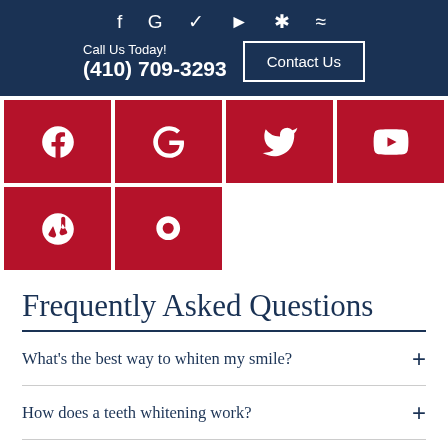f G Twitter YouTube Yelp Bloglovin | Call Us Today! (410) 709-3293 | Contact Us
[Figure (infographic): Six social media icon tiles in red: Facebook, Google, Twitter, YouTube, Yelp, Bloglovin]
Frequently Asked Questions
What's the best way to whiten my smile?
How does a teeth whitening work?
Is teeth whitening painful?
Does a teeth whitening procedure work for all types of stains and discolorations?